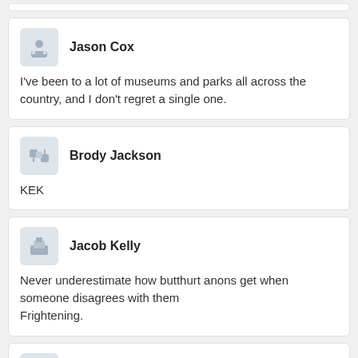Jason Cox
I've been to a lot of museums and parks all across the country, and I don't regret a single one.
Brody Jackson
KEK
Jacob Kelly
Never underestimate how butthurt anons get when someone disagrees with them
Frightening.
Cameron Ramirez
surely that is because a pendulum inevitably succumbs